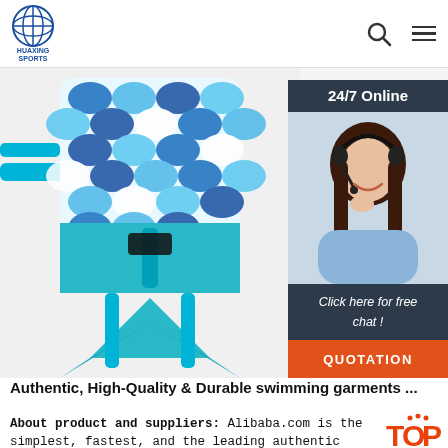HUAXING SPORTS
[Figure (photo): Product photo of a mermaid-themed child swim float/buoyancy aid with blue straps, buckles, and a fish-tail design. The float has a scale pattern in blue and white on the upper portion and a teal triangular tail fin at the bottom.]
[Figure (photo): 24/7 Online customer service representative - a smiling woman wearing a headset. Overlay panel with dark background includes text '24/7 Online', 'Click here for free chat!', and an orange QUOTATION button.]
Authentic, High-Quality & Durable swimming garments ...
About product and suppliers: Alibaba.com is the simplest, fastest, and the leading authentic source of high-quality swimming garments.Each project requires its own unique, stretchy, and soft swimming garments.The right textile of swimming